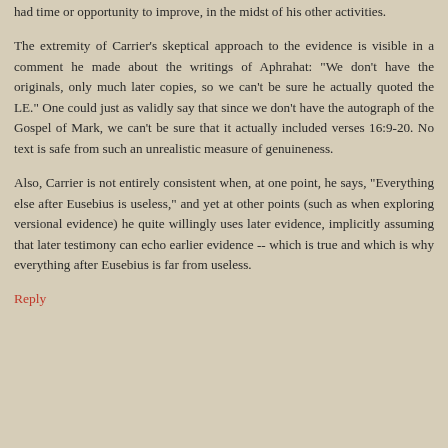had time or opportunity to improve, in the midst of his other activities.
The extremity of Carrier's skeptical approach to the evidence is visible in a comment he made about the writings of Aphrahat: "We don't have the originals, only much later copies, so we can't be sure he actually quoted the LE." One could just as validly say that since we don't have the autograph of the Gospel of Mark, we can't be sure that it actually included verses 16:9-20. No text is safe from such an unrealistic measure of genuineness.
Also, Carrier is not entirely consistent when, at one point, he says, "Everything else after Eusebius is useless," and yet at other points (such as when exploring versional evidence) he quite willingly uses later evidence, implicitly assuming that later testimony can echo earlier evidence -- which is true and which is why everything after Eusebius is far from useless.
Reply